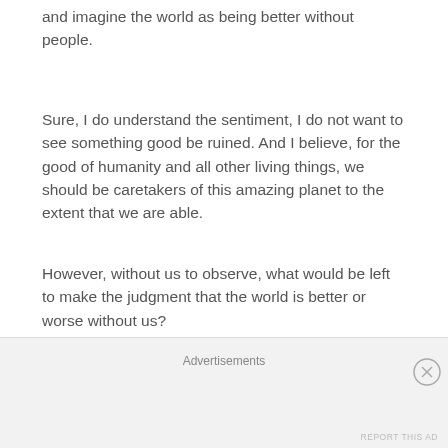and imagine the world as being better without people.
Sure, I do understand the sentiment, I do not want to see something good be ruined. And I believe, for the good of humanity and all other living things, we should be caretakers of this amazing planet to the extent that we are able.
However, without us to observe, what would be left to make the judgment that the world is better or worse without us?
Without a Capable Observer—Does Anything Really Matter?
Advertisements